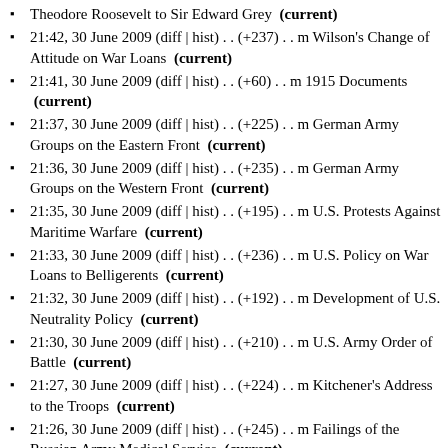Theodore Roosevelt to Sir Edward Grey (current)
21:42, 30 June 2009 (diff | hist) . . (+237) . . m Wilson's Change of Attitude on War Loans (current)
21:41, 30 June 2009 (diff | hist) . . (+60) . . m 1915 Documents (current)
21:37, 30 June 2009 (diff | hist) . . (+225) . . m German Army Groups on the Eastern Front (current)
21:36, 30 June 2009 (diff | hist) . . (+235) . . m German Army Groups on the Western Front (current)
21:35, 30 June 2009 (diff | hist) . . (+195) . . m U.S. Protests Against Maritime Warfare (current)
21:33, 30 June 2009 (diff | hist) . . (+236) . . m U.S. Policy on War Loans to Belligerents (current)
21:32, 30 June 2009 (diff | hist) . . (+192) . . m Development of U.S. Neutrality Policy (current)
21:30, 30 June 2009 (diff | hist) . . (+210) . . m U.S. Army Order of Battle (current)
21:27, 30 June 2009 (diff | hist) . . (+224) . . m Kitchener's Address to the Troops (current)
21:26, 30 June 2009 (diff | hist) . . (+245) . . m Failings of the Russian Army Medical Service (current)
21:25, 30 June 2009 (diff | hist) . . (+181) . . m The Hasslied (current)
21:23, 30 June 2009 (diff | hist) . . (+269) . . m Brougham's Memorandum of Interview with President Wilson (current)